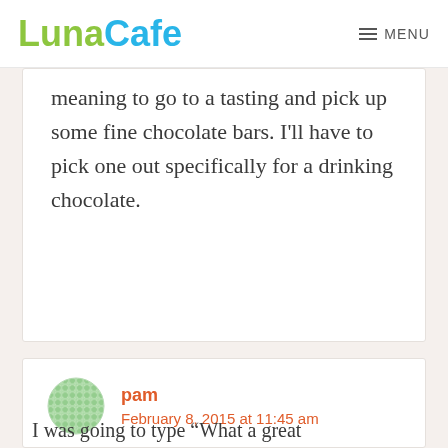LunaCafe  MENU
meaning to go to a tasting and pick up some fine chocolate bars. I'll have to pick one out specifically for a drinking chocolate.
pam
February 8, 2015 at 11:45 am
I was going to type “What a great